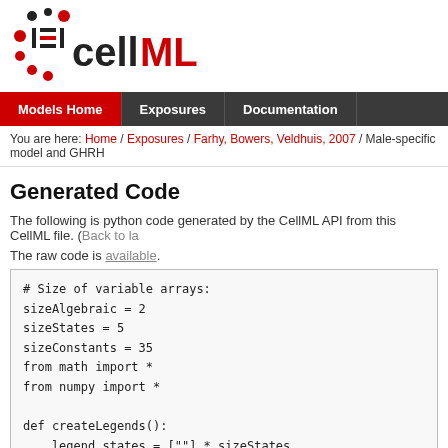[Figure (logo): CellML logo with red and dark circular dots and red/black text reading 'cellML']
Models Home | Exposures | Documentation
You are here: Home / Exposures / Farhy, Bowers, Veldhuis, 2007 / Male-specific model and GHRH
Generated Code
The following is python code generated by the CellML API from this CellML file. (Back to la
The raw code is available.
# Size of variable arrays:
sizeAlgebraic = 2
sizeStates = 5
sizeConstants = 35
from math import *
from numpy import *

def createLegends():
    legend_states = [""] * sizeStates
    legend_rates = [""] * sizeStates
    legend_algebraic = [""] * sizeAlgebraic
    legend_voi = ""
    legend_constants = [""] * sizeConstants
    legend_voi = "time in component environment (hour)"